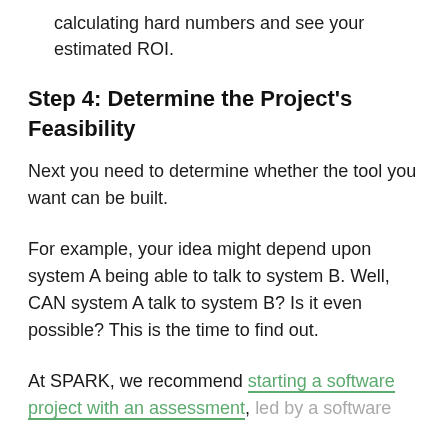calculating hard numbers and see your estimated ROI.
Step 4: Determine the Project's Feasibility
Next you need to determine whether the tool you want can be built.
For example, your idea might depend upon system A being able to talk to system B. Well, CAN system A talk to system B? Is it even possible? This is the time to find out.
At SPARK, we recommend starting a software project with an assessment, led by a software